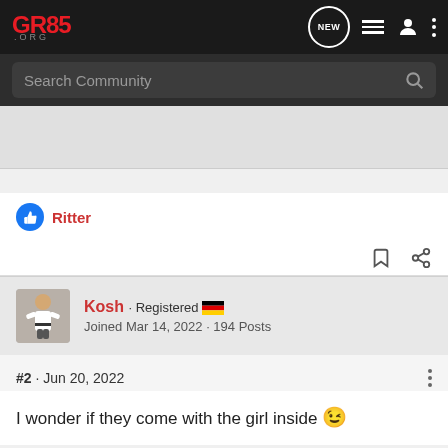[Figure (screenshot): GR85.org forum website navigation bar with logo, NEW chat icon, list icon, user icon, and kebab menu]
Search Community
[Figure (photo): Advertisement or image area]
👍 Ritter
Kosh · Registered 🇩🇪
Joined Mar 14, 2022 · 194 Posts
#2 · Jun 20, 2022
I wonder if they come with the girl inside 😉